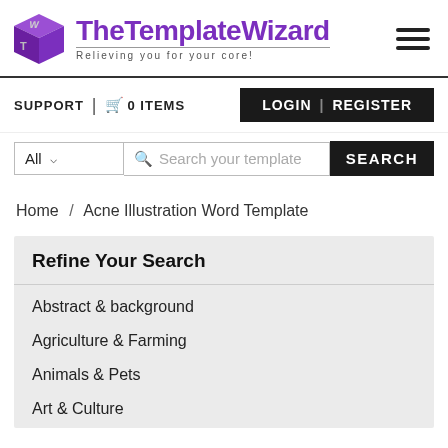[Figure (logo): TheTemplateWizard logo — purple 3D cube with W and T letters, next to the text 'TheTemplateWizard' in purple and tagline 'Relieving you for your core!' in grey]
SUPPORT | 0 ITEMS  LOGIN | REGISTER
All ▾  Search your template  SEARCH
Home / Acne Illustration Word Template
Refine Your Search
Abstract & background
Agriculture & Farming
Animals & Pets
Art & Culture